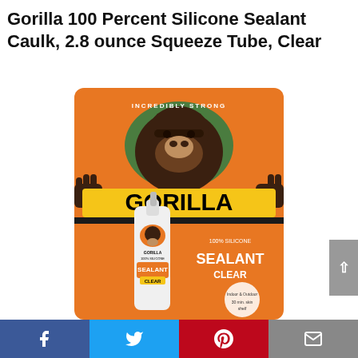Gorilla 100 Percent Silicone Sealant Caulk, 2.8 ounce Squeeze Tube, Clear
[Figure (photo): Gorilla 100% Silicone Sealant Caulk product packaging — orange blister card with gorilla logo, showing a white 2.8 oz squeeze tube labeled GORILLA 100% SILICONE SEALANT CLEAR. Text on packaging includes INCREDIBLY STRONG, 100% SILICONE, SEALANT CLEAR.]
Facebook | Twitter | Pinterest | Email